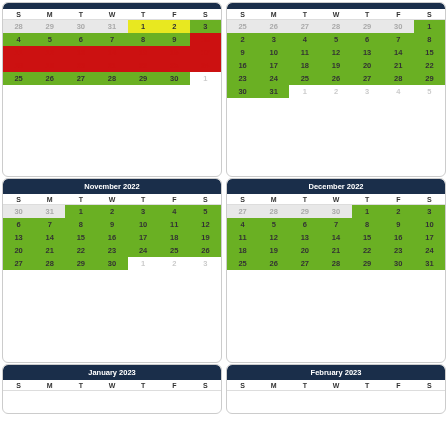[Figure (other): Calendar grid for October 2022 with colored date cells: yellow for Oct 1-2, green for Oct 4-10 and 25-30, red for Oct 11-24]
[Figure (other): Calendar grid for an unlabeled month (October 2022 second view) all green cells]
[Figure (other): Calendar grid for November 2022 with green cells for all dates]
[Figure (other): Calendar grid for December 2022 with green cells for all dates]
[Figure (other): Calendar grid header for January 2023]
[Figure (other): Calendar grid header for February 2023]